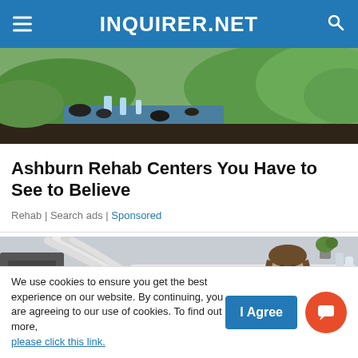INQUIRER.NET
[Figure (photo): Aerial view of a landscaped park or golf course with green hills, a pond, waterfall features, and dark volcanic rocks.]
Ashburn Rehab Centers You Have to See to Believe
Rehab | Search ads | Sponsored
[Figure (photo): Close-up of medical or dental equipment with white tubes and a smiling woman lying in a treatment chair, plants and equipment in background.]
We use cookies to ensure you get the best experience on our website. By continuing, you are agreeing to our use of cookies. To find out more, please click this link.